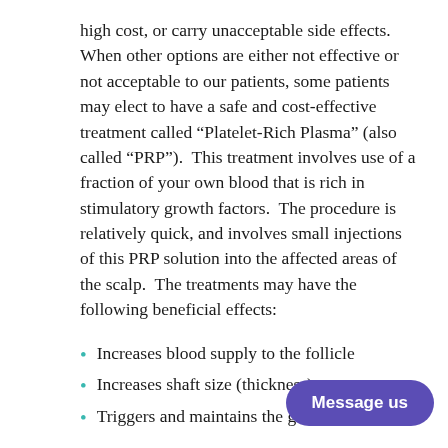high cost, or carry unacceptable side effects.  When other options are either not effective or not acceptable to our patients, some patients may elect to have a safe and cost-effective treatment called “Platelet-Rich Plasma” (also called “PRP”).  This treatment involves use of a fraction of your own blood that is rich in stimulatory growth factors.  The procedure is relatively quick, and involves small injections of this PRP solution into the affected areas of the scalp.  The treatments may have the following beneficial effects:
Increases blood supply to the follicle
Increases shaft size (thickness)
Triggers and maintains the grow